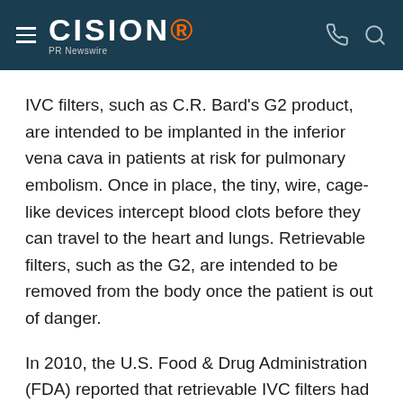CISION PR Newswire
IVC filters, such as C.R. Bard's G2 product, are intended to be implanted in the inferior vena cava in patients at risk for pulmonary embolism. Once in place, the tiny, wire, cage-like devices intercept blood clots before they can travel to the heart and lungs. Retrievable filters, such as the G2, are intended to be removed from the body once the patient is out of danger.
In 2010, the U.S. Food & Drug Administration (FDA) reported that retrievable IVC filters had been associated with more than 900 adverse events,